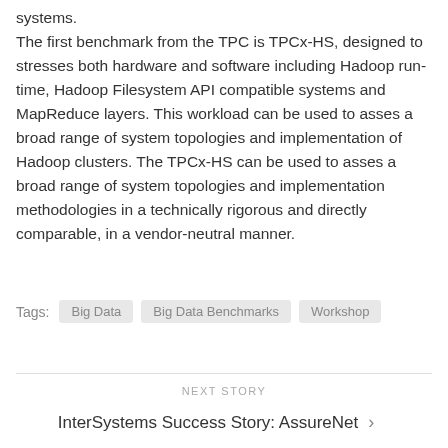systems.
The first benchmark from the TPC is TPCx-HS, designed to stresses both hardware and software including Hadoop run-time, Hadoop Filesystem API compatible systems and MapReduce layers. This workload can be used to asses a broad range of system topologies and implementation of Hadoop clusters. The TPCx-HS can be used to asses a broad range of system topologies and implementation methodologies in a technically rigorous and directly comparable, in a vendor-neutral manner.
Tags: Big Data  Big Data Benchmarks  Workshop
NEXT STORY
InterSystems Success Story: AssureNet